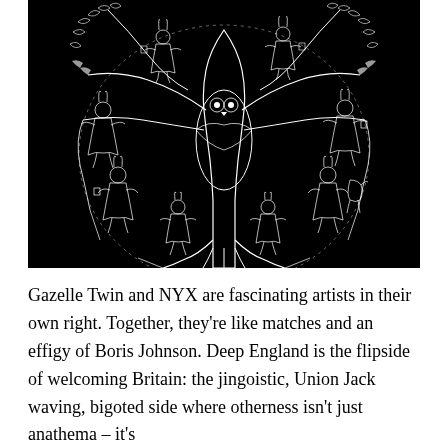[Figure (illustration): Black and white intricate illustration on a black background showing a central tree or owl-like figure with detailed linework, surrounded by multiple figures in dresses (animal-headed characters) dancing or moving in a circular arrangement. Leafy branches extend from the sides and top. The style is detailed and folkloric.]
Gazelle Twin and NYX are fascinating artists in their own right. Together, they're like matches and an effigy of Boris Johnson. Deep England is the flipside of welcoming Britain: the jingoistic, Union Jack waving, bigoted side where otherness isn't just anathema – it's